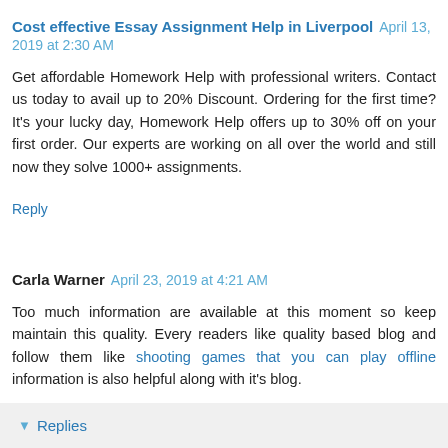Cost effective Essay Assignment Help in Liverpool  April 13, 2019 at 2:30 AM
Get affordable Homework Help with professional writers. Contact us today to avail up to 20% Discount. Ordering for the first time? It's your lucky day, Homework Help offers up to 30% off on your first order. Our experts are working on all over the world and still now they solve 1000+ assignments.
Reply
Carla Warner  April 23, 2019 at 4:21 AM
Too much information are available at this moment so keep maintain this quality. Every readers like quality based blog and follow them like shooting games that you can play offline information is also helpful along with it's blog.
Reply
▾  Replies